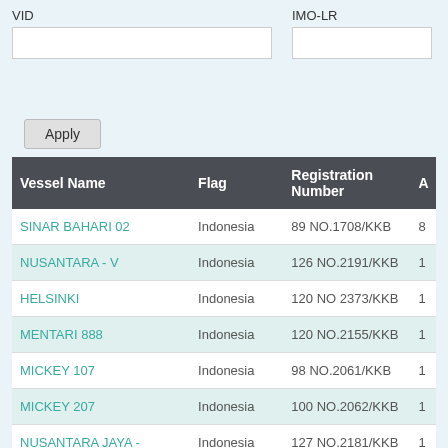VID
IMO-LR
Apply
| Vessel Name | Flag | Registration Number | A |
| --- | --- | --- | --- |
| SINAR BAHARI 02 | Indonesia | 89 NO.1708/KKB | 8 |
| NUSANTARA - V | Indonesia | 126 NO.2191/KKB | 1 |
| HELSINKI | Indonesia | 120 NO 2373/KKB | 1 |
| MENTARI 888 | Indonesia | 120 NO.2155/KKB | 1 |
| MICKEY 107 | Indonesia | 98 NO.2061/KKB | 1 |
| MICKEY 207 | Indonesia | 100 NO.2062/KKB | 1 |
| NUSANTARA JAYA - 02 | Indonesia | 127 NO.2181/KKB | 1 |
| NUSANTARA JAYA - | Indonesia | 120 NO.2210/KKB |  |